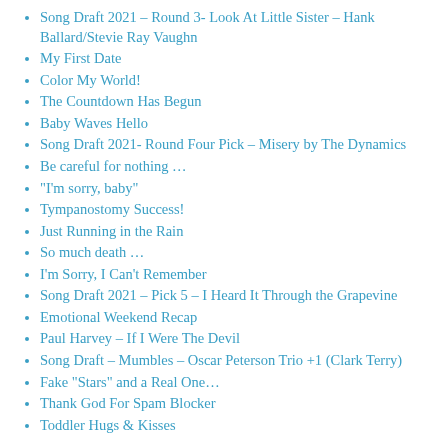Song Draft 2021 – Round 3- Look At Little Sister – Hank Ballard/Stevie Ray Vaughn
My First Date
Color My World!
The Countdown Has Begun
Baby Waves Hello
Song Draft 2021- Round Four Pick – Misery by The Dynamics
Be careful for nothing …
“I’m sorry, baby”
Tympanostomy Success!
Just Running in the Rain
So much death …
I’m Sorry, I Can’t Remember
Song Draft 2021 – Pick 5 – I Heard It Through the Grapevine
Emotional Weekend Recap
Paul Harvey – If I Were The Devil
Song Draft – Mumbles – Oscar Peterson Trio +1 (Clark Terry)
Fake “Stars” and a Real One…
Thank God For Spam Blocker
Toddler Hugs & Kisses